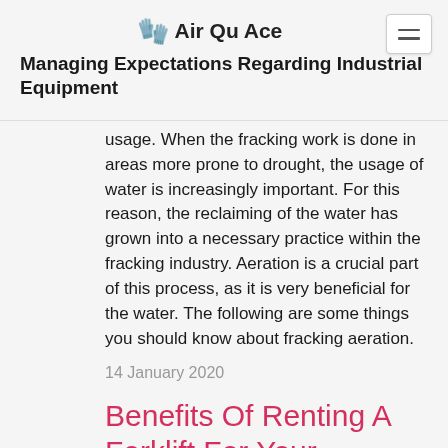Air Qu Ace
Managing Expectations Regarding Industrial Equipment
usage. When the fracking work is done in areas more prone to drought, the usage of water is increasingly important. For this reason, the reclaiming of the water has grown into a necessary practice within the fracking industry. Aeration is a crucial part of this process, as it is very beneficial for the water. The following are some things you should know about fracking aeration.
14 January 2020
Benefits Of Renting A Forklift For Your